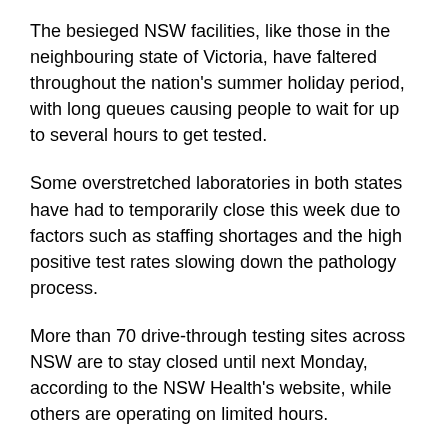The besieged NSW facilities, like those in the neighbouring state of Victoria, have faltered throughout the nation's summer holiday period, with long queues causing people to wait for up to several hours to get tested.
Some overstretched laboratories in both states have had to temporarily close this week due to factors such as staffing shortages and the high positive test rates slowing down the pathology process.
More than 70 drive-through testing sites across NSW are to stay closed until next Monday, according to the NSW Health's website, while others are operating on limited hours.
The frenetic workload has also caused errors such as hundreds of infected people in NSW were initially wrongly told they had tested negative.